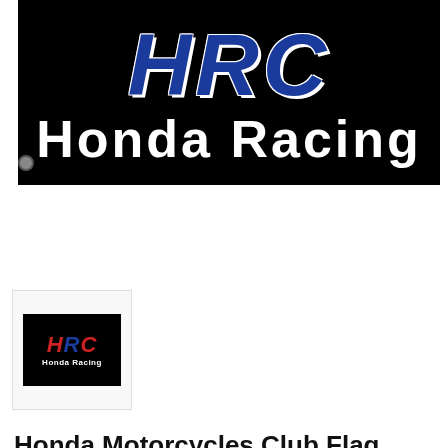[Figure (photo): HRC Honda Racing flag banner image — black background with large blue italic HRC letters outlined in white, and white bold text 'Honda Racing' below. A small metal grommet is visible on the left edge.]
[Figure (logo): Small thumbnail image of the HRC Honda Racing flag in a light grey bordered box. The thumbnail shows a dark background with red and blue HRC lettering and 'Honda Racing' text.]
Honda Motorcycles Club Flag